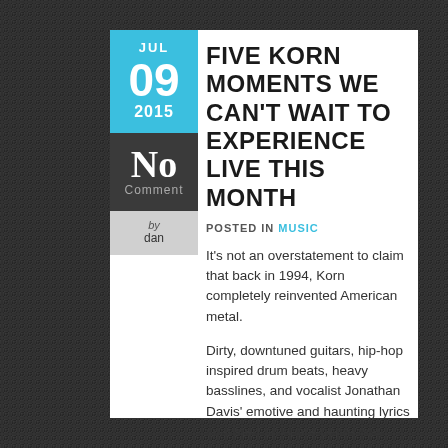JUL 09 2015
No Comment
by dan
FIVE KORN MOMENTS WE CAN'T WAIT TO EXPERIENCE LIVE THIS MONTH
POSTED IN MUSIC
It's not an overstatement to claim that back in 1994, Korn completely reinvented American metal.
Dirty, downtuned guitars, hip-hop inspired drum beats, heavy basslines, and vocalist Jonathan Davis' emotive and haunting lyrics spawned an entire genre now known as nu-metal, of which this self-